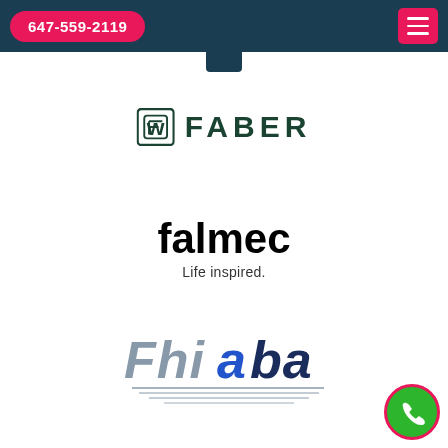647-559-2119
[Figure (logo): Faber brand logo with green square icon and FABER text in dark green capital letters]
[Figure (logo): Falmec logo with bold black lowercase text 'falmec' and tagline 'Life inspired.' below]
[Figure (logo): Fhiaba logo in italic blue and dark blue text with horizontal lines beneath]